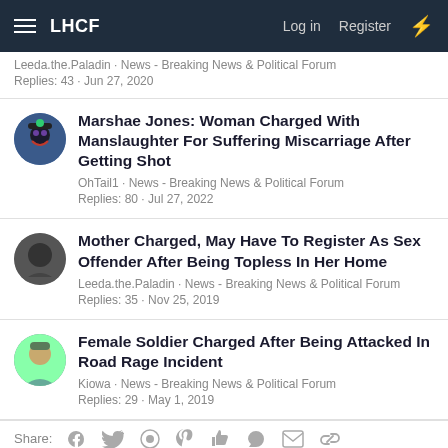LHCF  Log in  Register
Leeda.the.Paladin · News - Breaking News & Political Forum
Replies: 43 · Jun 27, 2020
Marshae Jones: Woman Charged With Manslaughter For Suffering Miscarriage After Getting Shot
OhTail1 · News - Breaking News & Political Forum
Replies: 80 · Jul 27, 2022
Mother Charged, May Have To Register As Sex Offender After Being Topless In Her Home
Leeda.the.Paladin · News - Breaking News & Political Forum
Replies: 35 · Nov 25, 2019
Female Soldier Charged After Being Attacked In Road Rage Incident
Kiowa · News - Breaking News & Political Forum
Replies: 29 · May 1, 2019
Share: